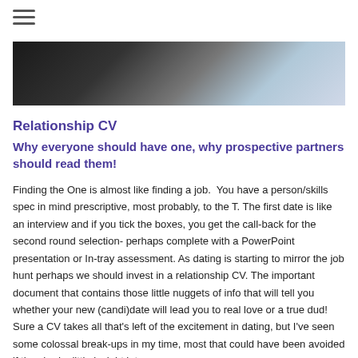[Figure (photo): Partial photo of a person in a black shirt, cropped web page hero image at top of article]
Relationship CV
Why everyone should have one, why prospective partners should read them!
Finding the One is almost like finding a job.  You have a person/skills spec in mind prescriptive, most probably, to the T. The first date is like an interview and if you tick the boxes, you get the call-back for the second round selection- perhaps complete with a PowerPoint presentation or In-tray assessment. As dating is starting to mirror the job hunt perhaps we should invest in a relationship CV. The important document that contains those little nuggets of info that will tell you whether your new (candi)date will lead you to real love or a true dud! Sure a CV takes all that's left of the excitement in dating, but I've seen some colossal break-ups in my time, most that could have been avoided if they had a little insight into